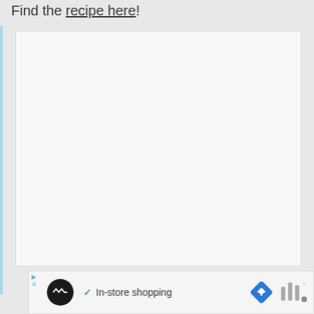Find the recipe here!
[Figure (other): Large white/light gray blank image placeholder block]
[Figure (screenshot): Ad banner showing: close/arrow button, black circle logo with infinity-like icon, green checkmark with text 'In-store shopping', blue diamond navigation icon, and music/audio icon]